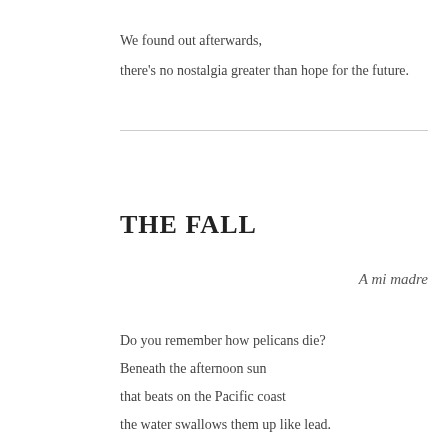We found out afterwards,
there's no nostalgia greater than hope for the future.
THE FALL
A mi madre
Do you remember how pelicans die?
Beneath the afternoon sun
that beats on the Pacific coast
the water swallows them up like lead.